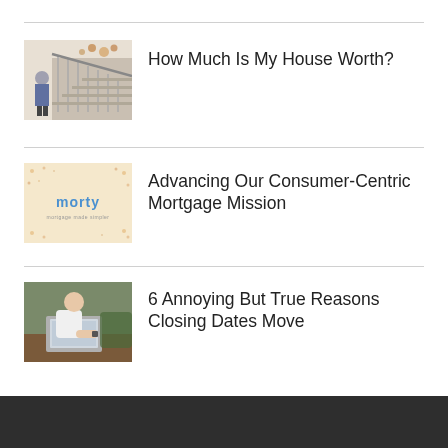[Figure (photo): Interior photo of a home staircase with white railing and decorative wall items]
How Much Is My House Worth?
[Figure (logo): Morty mortgage brand card with logo on light decorative background]
Advancing Our Consumer-Centric Mortgage Mission
[Figure (photo): Person in white shirt sitting at a table working on a laptop]
6 Annoying But True Reasons Closing Dates Move